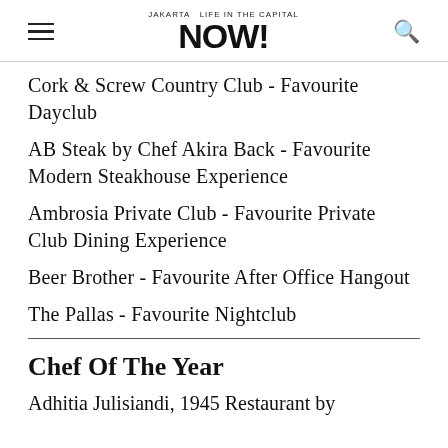JAKARTA NOW!
Cork & Screw Country Club - Favourite Dayclub
AB Steak by Chef Akira Back - Favourite Modern Steakhouse Experience
Ambrosia Private Club - Favourite Private Club Dining Experience
Beer Brother - Favourite After Office Hangout
The Pallas - Favourite Nightclub
Chef Of The Year
Adhitia Julisiandi, 1945 Restaurant by